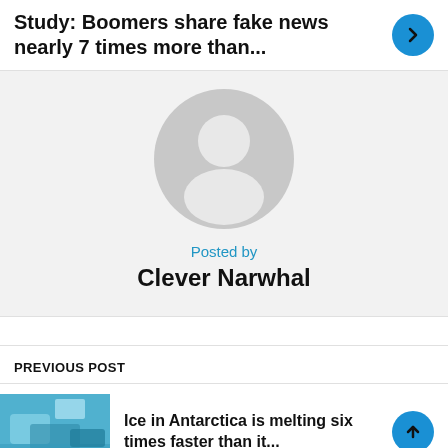Study: Boomers share fake news nearly 7 times more than...
[Figure (illustration): Generic user avatar: grey circle with white silhouette of a person (head and shoulders)]
Posted by
Clever Narwhal
PREVIOUS POST
[Figure (photo): Blue ice/glacier photo from Antarctica]
Ice in Antarctica is melting six times faster than it...